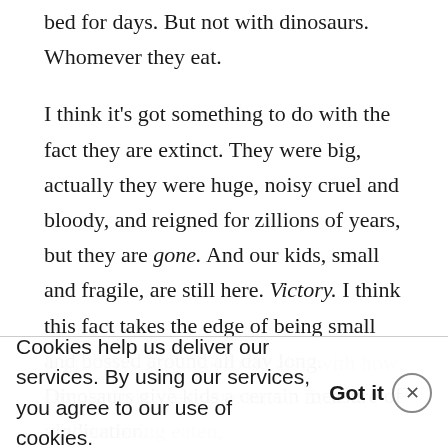bed for days. But not with dinosaurs. Whomever they eat.
I think it's got something to do with the fact they are extinct. They were big, actually they were huge, noisy cruel and bloody, and reigned for zillions of years, but they are gone. And our kids, small and fragile, are still here. Victory. I think this fact takes the edge of being small and bossed around all day long. Dinosaurs give kids a certain measure of vindication.
Cookies help us deliver our services. By using our services, you agree to our use of cookies.  Got it